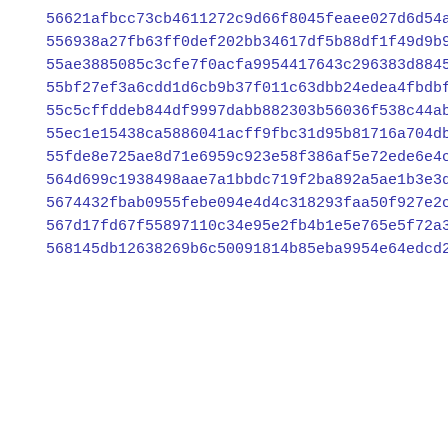56621afbcc73cb4611272c9d66f8045feaee027d6d54a2907a7c7c5d18bca
556938a27fb63ff0def202bb34617df5b88df1f49d9b9178afbaa255bc8c1
55ae3885085c3cfe7f0acfa9954417643c296383d8845378e7b9a144c2a942
55bf27ef3a6cdd1d6cb9b37f011c63dbb24edea4fbdbff95347ae284c7fb3
55c5cffddeb844df9997dabb882303b56036f538c44abd5c975a59fcbf69f
55ec1e15438ca5886041acff9fbc31d95b81716a704db8cc19de3b87dcf68
55fde8e725ae8d71e6959c923e58f386af5e72ede6e4cd4222e7474038bc9
564d699c1938498aae7a1bbdc719f2ba892a5ae1b3e3d5ee86fec5cf796f6
5674432fbab0955febe094e4d4c318293faa50f927e2c939d070123ec0d84
567d17fd67f55897110c34e95e2fb4b1e5e765e5f72a37c3ca1ab9393bb53
568145db12638269b6c50091814b85eba9954e64edcd2b66a88a2d6ddfe8c